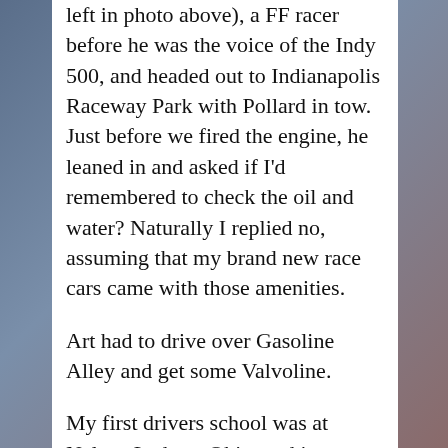left in photo above), a FF racer before he was the voice of the Indy 500, and headed out to Indianapolis Raceway Park with Pollard in tow. Just before we fired the engine, he leaned in and asked if I'd remembered to check the oil and water? Naturally I replied no, assuming that my brand new race cars came with those amenities.
Art had to drive over Gasoline Alley and get some Valvoline.
My first drivers school was at Nelson Ledges, Ohio, and it was fairly uneventful; but my second stop was Watkins Glen. I'd watched the movie Grand Prix four nights in a row when it came out, and I know exactly what to